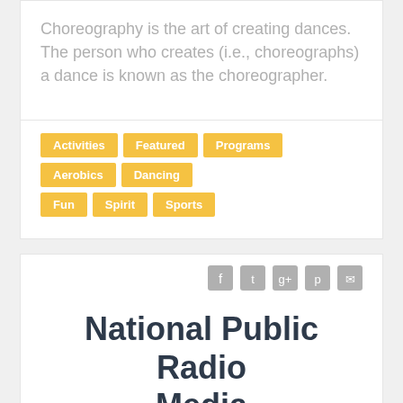Choreography is the art of creating dances. The person who creates (i.e., choreographs) a dance is known as the choreographer.
Activities
Featured
Programs
Aerobics
Dancing
Fun
Spirit
Sports
[Figure (other): Social media share icons: Facebook, Twitter, Google+, Pinterest, Email]
National Public Radio Media